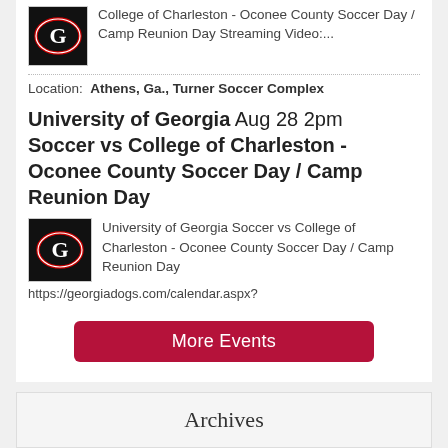[Figure (logo): University of Georgia G logo on black background (top)]
College of Charleston - Oconee County Soccer Day / Camp Reunion Day Streaming Video:...
Location: Athens, Ga., Turner Soccer Complex
University of Georgia Aug 28 2pm Soccer vs College of Charleston - Oconee County Soccer Day / Camp Reunion Day
[Figure (logo): University of Georgia G logo on black background (event detail)]
University of Georgia Soccer vs College of Charleston - Oconee County Soccer Day / Camp Reunion Day https://georgiadogs.com/calendar.aspx?
More Events
Archives
Select Month